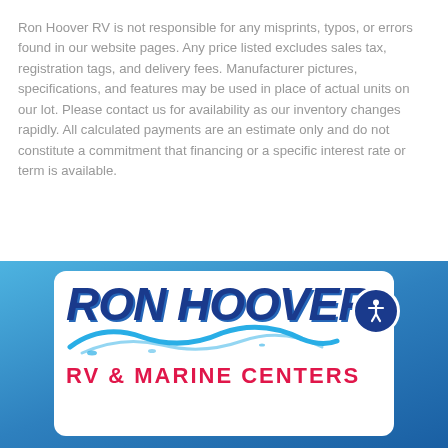Ron Hoover RV is not responsible for any misprints, typos, or errors found in our website pages. Any price listed excludes sales tax, registration tags, and delivery fees. Manufacturer pictures, specifications, and features may be used in place of actual units on our lot. Please contact us for availability as our inventory changes rapidly. All calculated payments are an estimate only and do not constitute a commitment that financing or a specific interest rate or term is available.
[Figure (logo): Ron Hoover RV & Marine Centers logo on blue background with white rounded rectangle card, bold dark blue italic 'RON HOOVER' text with blue script below, and 'RV & MARINE CENTERS' in red below. Accessibility icon (blue circle with white figure) on right side.]